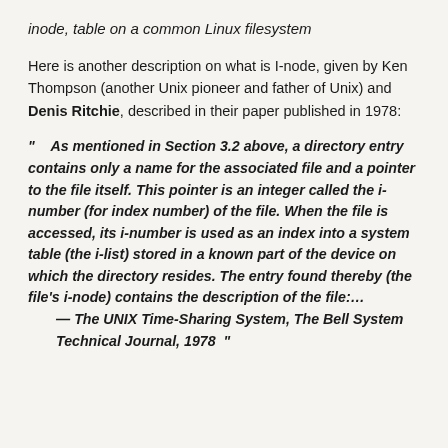inode, table on a common Linux filesystem
Here is another description on what is I-node, given by Ken Thompson (another Unix pioneer and father of Unix) and Denis Ritchie, described in their paper published in 1978:
"    As mentioned in Section 3.2 above, a directory entry contains only a name for the associated file and a pointer to the file itself. This pointer is an integer called the i-number (for index number) of the file. When the file is accessed, its i-number is used as an index into a system table (the i-list) stored in a known part of the device on which the directory resides. The entry found thereby (the file's i-node) contains the description of the file:…
    — The UNIX Time-Sharing System, The Bell System Technical Journal, 1978  "